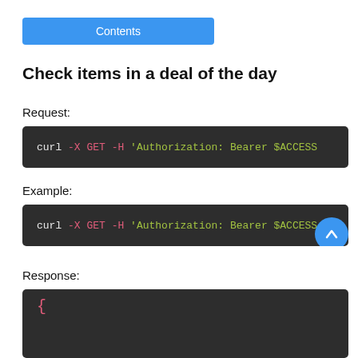Contents
Check items in a deal of the day
Request:
curl -X GET -H 'Authorization: Bearer $ACCESS...
Example:
curl -X GET -H 'Authorization: Bearer $ACC...
Response:
{